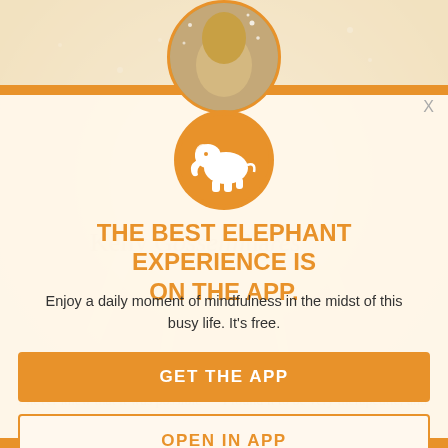[Figure (screenshot): Elephant Journal app promotion popup overlay with orange elephant logo, two call-to-action buttons, and faint background of a webpage article]
THE BEST ELEPHANT EXPERIENCE IS ON THE APP.
Enjoy a daily moment of mindfulness in the midst of this busy life. It's free.
GET THE APP
OPEN IN APP